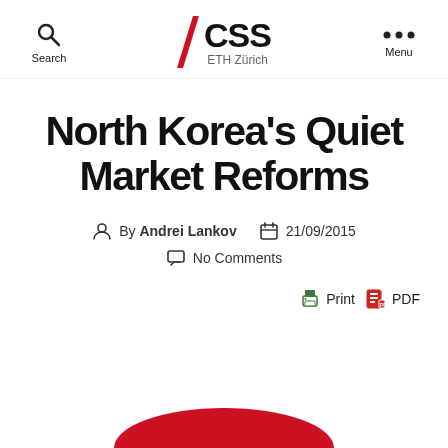CSS ETH Zürich — Search / Menu navigation bar
North Korea's Quiet Market Reforms
By Andrei Lankov  21/09/2015  No Comments
Print  PDF